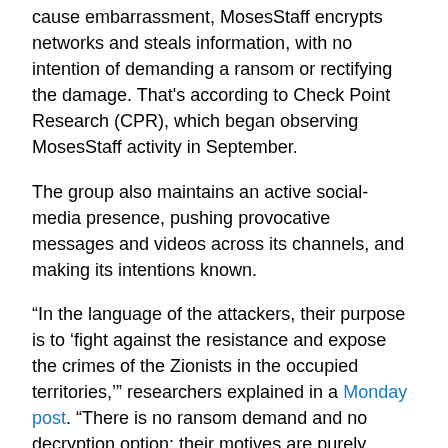cause embarrassment, MosesStaff encrypts networks and steals information, with no intention of demanding a ransom or rectifying the damage. That's according to Check Point Research (CPR), which began observing MosesStaff activity in September.
The group also maintains an active social-media presence, pushing provocative messages and videos across its channels, and making its intentions known.
“In the language of the attackers, their purpose is to ‘fight against the resistance and expose the crimes of the Zionists in the occupied territories,’” researchers explained in a Monday post. “There is no ransom demand and no decryption option; their motives are purely political.”
Known Vulnerabilities